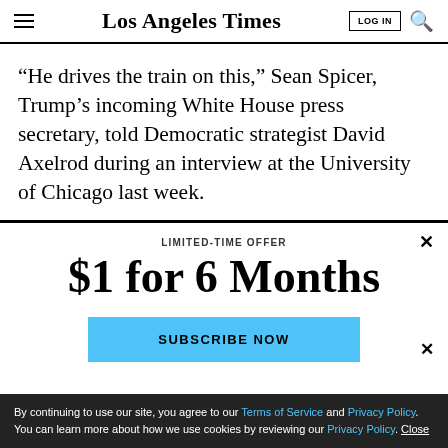Los Angeles Times
“He drives the train on this,” Sean Spicer, Trump’s incoming White House press secretary, told Democratic strategist David Axelrod during an interview at the University of Chicago last week.
LIMITED-TIME OFFER
$1 for 6 Months
SUBSCRIBE NOW
By continuing to use our site, you agree to our Terms of Service and Privacy Policy. You can learn more about how we use cookies by reviewing our Privacy Policy. Close